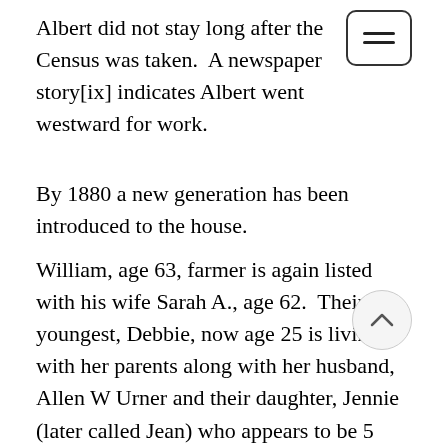Albert did not stay long after the Census was taken.  A newspaper story[ix] indicates Albert went westward for work.
By 1880 a new generation has been introduced to the house.
William, age 63, farmer is again listed with his wife Sarah A., age 62.  Their youngest, Debbie, now age 25 is living with her parents along with her husband, Allen W Urner and their daughter, Jennie (later called Jean) who appears to be 5 years old.  Allen is enumerated as a school teacher.  The Schick/Urner household also has a boarder living with them, William